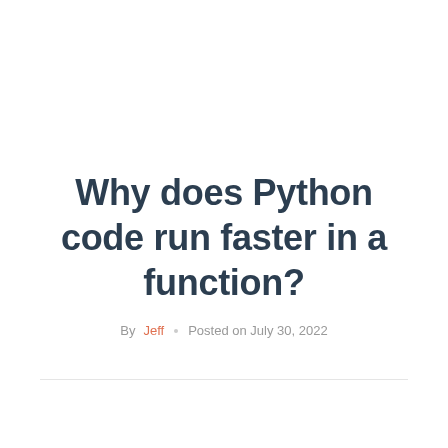Why does Python code run faster in a function?
By Jeff  Posted on July 30, 2022